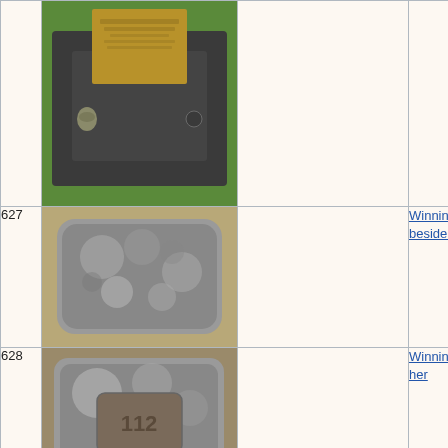[Figure (photo): Grave marker with bronze plaque on dark stone slab, surrounded by green grass]
627
[Figure (photo): Weathered flat stone grave marker covered in lichen, set in dry grass]
Winning, Mary, in 1931, (she is beside her plot 112)
628
[Figure (photo): Weathered flat stone grave marker with number 112 engraved, covered in lichen]
Winning, Mary, in she is beside her
629
[Figure (photo): Flat rectangular grave marker set in ground with grass around it]